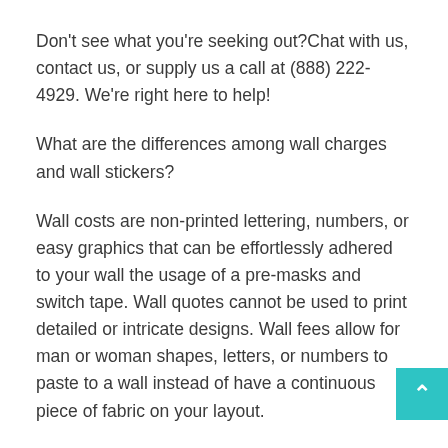Don't see what you're seeking out?Chat with us, contact us, or supply us a call at (888) 222-4929. We're right here to help!
What are the differences among wall charges and wall stickers?
Wall costs are non-printed lettering, numbers, or easy graphics that can be effortlessly adhered to your wall the usage of a pre-masks and switch tape. Wall quotes cannot be used to print detailed or intricate designs. Wall fees allow for man or woman shapes, letters, or numbers to paste to a wall instead of have a continuous piece of fabric on your layout.
Alternatively, wall stickers or pictures are a continuous piece of cloth (whether or not they're cut to form or not); these are best for certain designs due to the fact they may